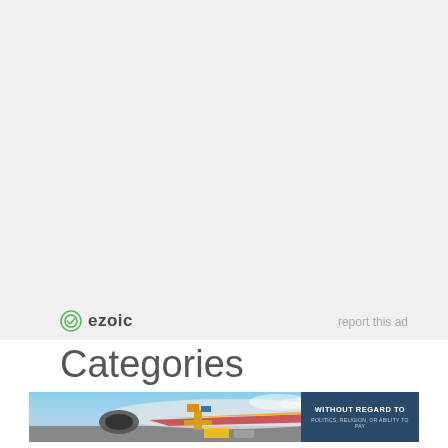[Figure (logo): Ezoic logo with green circular checkmark icon and bold 'ezoic' text]
report this ad
Categories
[Figure (photo): Advertisement banner showing cargo being loaded onto an aircraft on a tarmac, with a dark blue overlay panel on the right reading 'WITHOUT REGARD TO POLITICS, RELIGION, OR ABILITY TO PAY']